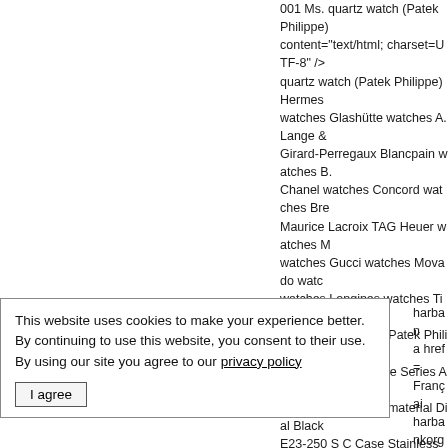001 Ms. quartz watch (Patek Philippe) content="text/html; charset=UTF-8" /> quartz watch (Patek Philippe) Hermes watches Glashütte watches A. Lange & Girard-Perregaux Blancpain watches B. Chanel watches Concord watches Bre Maurice Lacroix TAG Heuer watches M watches Gucci watches Movado watch watches Longines watches Tissot watc content="Zen Cart! Patek Philippe Aqu Brand Patek Philippe Series Aquanaut Tropical composite material Dial Black E23-250 S C Case Stainless steel Sur Strap Color Silver Crown Screw Packa Aquanaut series [ Introduction] Patek P content="no" /> <base href="http://www philippe-aquanaut-series-50871a001-m href="http://www.kautharbank.org/inclu href="http://www.kautharbank.org/inclu href="http://www.kautharbank.org/inclu type="text/css" media="print" href="htt style="margin:0 auto; clear:both;"><div right:auto;margin-left:auto;"> <b>langu
This website uses cookies to make your experience better. By continuing to use this website, you consent to their use. By using our site you agree to our privacy policy
I agree
harbank.org/langi a href="http://www Français " height= harbank.org/langin kautharbank.org/e 6" width="24"></a> harbank.org/langin